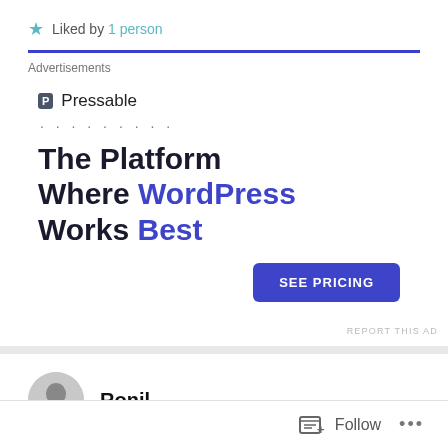Liked by 1 person
Advertisements
[Figure (other): Pressable advertisement: logo with P icon and Pressable text, dotted line, headline 'The Platform Where WordPress Works Best', and a 'SEE PRICING' button]
REPORT THIS AD
Ronil
Follow